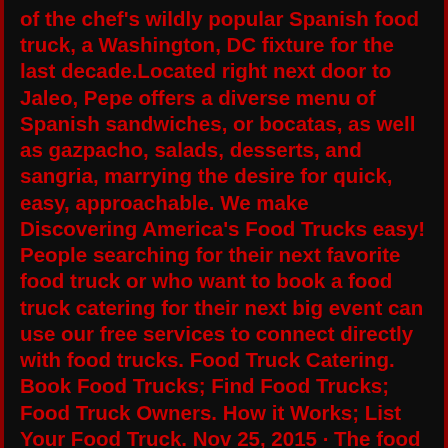of the chef's wildly popular Spanish food truck, a Washington, DC fixture for the last decade.Located right next door to Jaleo, Pepe offers a diverse menu of Spanish sandwiches, or bocatas, as well as gazpacho, salads, desserts, and sangria, marrying the desire for quick, easy, approachable. We make Discovering America's Food Trucks easy! People searching for their next favorite food truck or who want to book a food truck catering for their next big event can use our free services to connect directly with food trucks. Food Truck Catering. Book Food Trucks; Find Food Trucks; Food Truck Owners. How it Works; List Your Food Truck. Nov 25, 2015 · The food truck serves variations of Lizarran internationally-known Pintxos, (Basque for small snacks), atop sliced bread and pierced by a toothpick. Like the popular Huevos Estrellados Con Chistorra, – Basque Sausage topped with Fried Egg and hit with Smoked Paprika .. Apr 16, 2018 · Remind them to bring cash and make sure students who have food sensitivities or allergies are aware of what's on the menu.